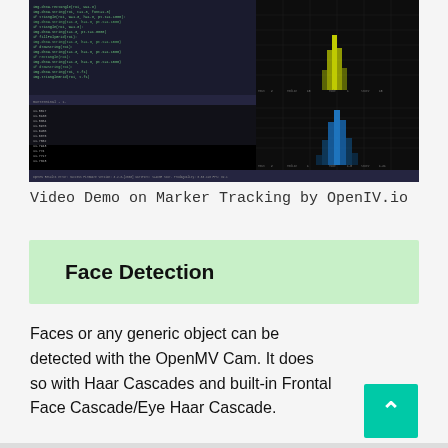[Figure (screenshot): Screenshot of OpenMV IDE showing code editor with green-tinted Python code on dark background (left panel), terminal output (bottom-left), and two histogram charts on dark background (right panel) showing frequency distributions with yellow and blue peaks.]
Video Demo on Marker Tracking by OpenIV.io
Face Detection
Faces or any generic object can be detected with the OpenMV Cam. It does so with Haar Cascades and built-in Frontal Face Cascade/Eye Haar Cascade.